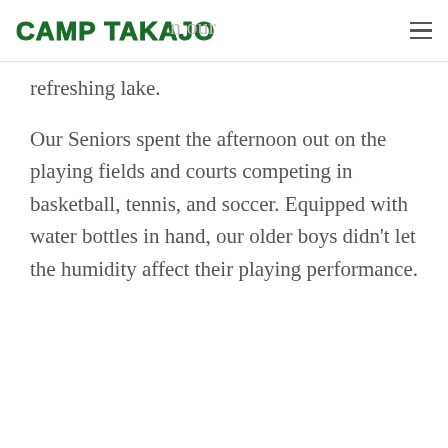CAMP TAKAJO
refreshing lake.
Our Seniors spent the afternoon out on the playing fields and courts competing in basketball, tennis, and soccer. Equipped with water bottles in hand, our older boys didn't let the humidity affect their playing performance.